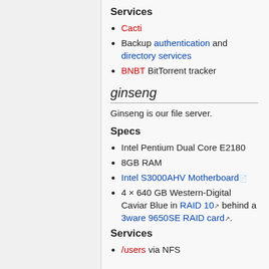Services
Cacti
Backup authentication and directory services
BNBT BitTorrent tracker
ginseng
Ginseng is our file server.
Specs
Intel Pentium Dual Core E2180
8GB RAM
Intel S3000AHV Motherboard
4 × 640 GB Western-Digital Caviar Blue in RAID 10 behind a 3ware 9650SE RAID card.
Services
/users via NFS